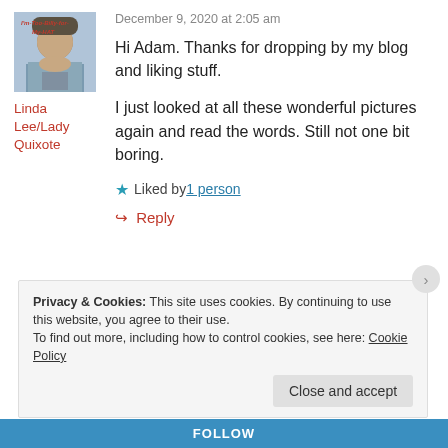[Figure (photo): Avatar/profile photo of Linda Lee/Lady Quixote with text 'I'm-Too-Billy-For-My-HAT' on image]
Linda Lee/Lady Quixote
December 9, 2020 at 2:05 am
Hi Adam. Thanks for dropping by my blog and liking stuff.
I just looked at all these wonderful pictures again and read the words. Still not one bit boring.
★ Liked by 1 person
↪ Reply
Privacy & Cookies: This site uses cookies. By continuing to use this website, you agree to their use.
To find out more, including how to control cookies, see here: Cookie Policy
Close and accept